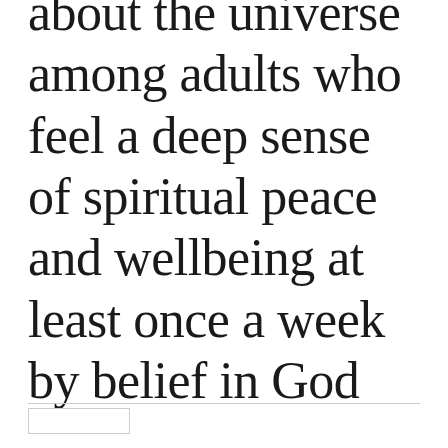about the universe among adults who feel a deep sense of spiritual peace and wellbeing at least once a week by belief in God